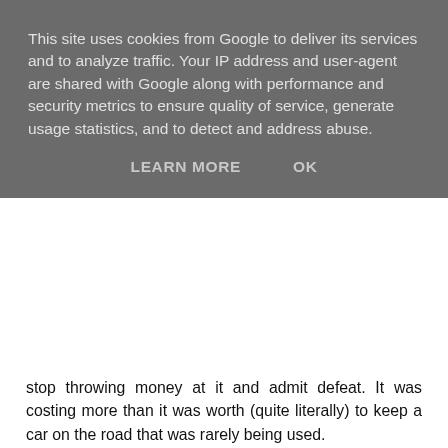This site uses cookies from Google to deliver its services and to analyze traffic. Your IP address and user-agent are shared with Google along with performance and security metrics to ensure quality of service, generate usage statistics, and to detect and address abuse.
LEARN MORE    OK
stop throwing money at it and admit defeat. It was costing more than it was worth (quite literally) to keep a car on the road that was rarely being used.
So we sold the car. We are now a no car family. We'll get by - public transport is great (well plentiful) in London, there are always cabs for journeys with shopping... and if we really need to go somewhere that requires a car journey we can rent one. I did that in Ireland for the wedding of some friends and it was very cost effective.
That isn't to say I shan't miss our little car who served us so well.